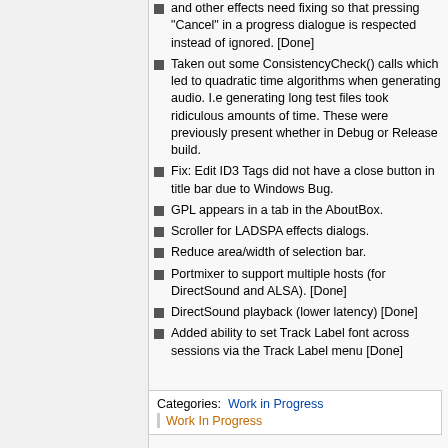and other effects need fixing so that pressing "Cancel" in a progress dialogue is respected instead of ignored. [Done]
Taken out some ConsistencyCheck() calls which led to quadratic time algorithms when generating audio. I.e generating long test files took ridiculous amounts of time. These were previously present whether in Debug or Release build.
Fix: Edit ID3 Tags did not have a close button in title bar due to Windows Bug.
GPL appears in a tab in the AboutBox.
Scroller for LADSPA effects dialogs.
Reduce area/width of selection bar.
Portmixer to support multiple hosts (for DirectSound and ALSA). [Done]
DirectSound playback (lower latency) [Done]
Added ability to set Track Label font across sessions via the Track Label menu [Done]
Categories:  Work in Progress
Work In Progress